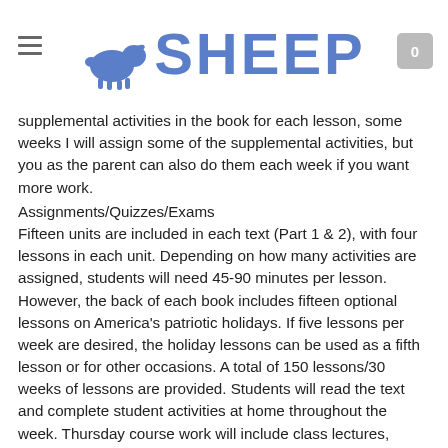SHEEP
supplemental activities in the book for each lesson, some weeks I will assign some of the supplemental activities, but you as the parent can also do them each week if you want more work.
Assignments/Quizzes/Exams
Fifteen units are included in each text (Part 1 & 2), with four lessons in each unit. Depending on how many activities are assigned, students will need 45-90 minutes per lesson. However, the back of each book includes fifteen optional lessons on America's patriotic holidays. If five lessons per week are desired, the holiday lessons can be used as a fifth lesson or for other occasions. A total of 150 lessons/30 weeks of lessons are provided. Students will read the text and complete student activities at home throughout the week. Thursday course work will include class lectures, activities, and group discussion. We will also have interactive, hands-on activities such as a class election, mock court trial and also meeting people from positions within the government/civics